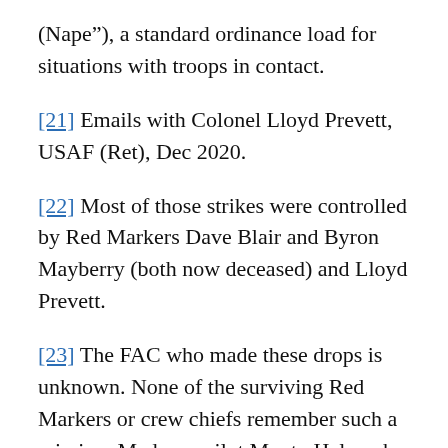(Nape”), a standard ordinance load for situations with troops in contact.
[21] Emails with Colonel Lloyd Prevett, USAF (Ret), Dec 2020.
[22] Most of those strikes were controlled by Red Markers Dave Blair and Byron Mayberry (both now deceased) and Lloyd Prevett.
[23] The FAC who made these drops is unknown. None of the surviving Red Markers or crew chiefs remember such a mission. Medevac pilot Monty Halcomb recalls a sector FAC, call sign Rod 15, who flew from Quan Loi as being the one involved. The Rod FACs